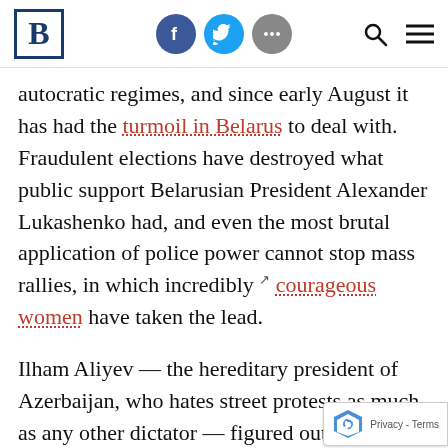B [logo] | Facebook | Twitter | More | Search | Menu
autocratic regimes, and since early August it has had the turmoil in Belarus to deal with. Fraudulent elections have destroyed what public support Belarusian President Alexander Lukashenko had, and even the most brutal application of police power cannot stop mass rallies, in which incredibly courageous women have taken the lead.
Ilham Aliyev — the hereditary president of Azerbaijan, who hates street protests as much as any other dictator — figured out that Vladimir Putin would be preoccupied with the dilemma of res... or replacing Lukashenko. He also expected tha...